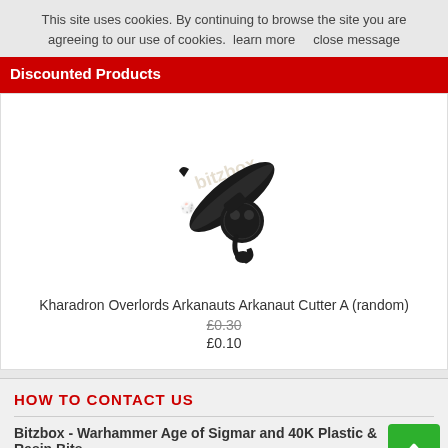This site uses cookies. By continuing to browse the site you are agreeing to our use of cookies.  learn more      close message
Discounted Products
[Figure (photo): Photo of Kharadron Overlords Arkanauts Arkanaut Cutter A miniature piece, a dark metal fantasy weapon/accessory bit, shown on white background with Bitzbox watermark]
Kharadron Overlords Arkanauts Arkanaut Cutter A (random)
£0.30
£0.10
HOW TO CONTACT US
Bitzbox - Warhammer Age of Sigmar and 40K Plastic & Resin Bits
9 Elm Avenue